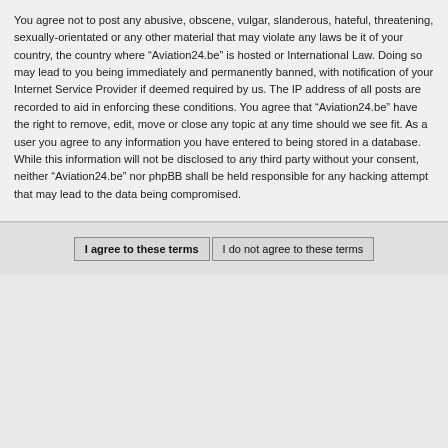You agree not to post any abusive, obscene, vulgar, slanderous, hateful, threatening, sexually-orientated or any other material that may violate any laws be it of your country, the country where “Aviation24.be” is hosted or International Law. Doing so may lead to you being immediately and permanently banned, with notification of your Internet Service Provider if deemed required by us. The IP address of all posts are recorded to aid in enforcing these conditions. You agree that “Aviation24.be” have the right to remove, edit, move or close any topic at any time should we see fit. As a user you agree to any information you have entered to being stored in a database. While this information will not be disclosed to any third party without your consent, neither “Aviation24.be” nor phpBB shall be held responsible for any hacking attempt that may lead to the data being compromised.
I agree to these terms | I do not agree to these terms